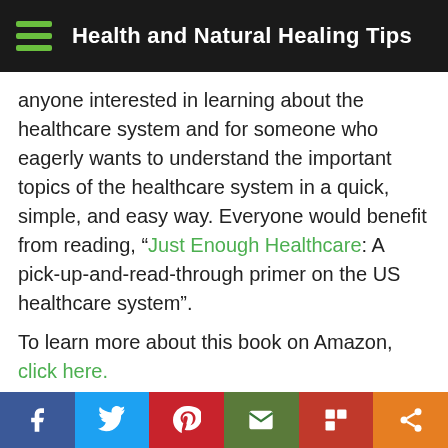Health and Natural Healing Tips
anyone interested in learning about the healthcare system and for someone who eagerly wants to understand the important topics of the healthcare system in a quick, simple, and easy way. Everyone would benefit from reading, “Just Enough Healthcare: A pick-up-and-read-through primer on the US healthcare system”.
To learn more about this book on Amazon, click here.
ISBN-13: 979-8665134741
Pages: 118